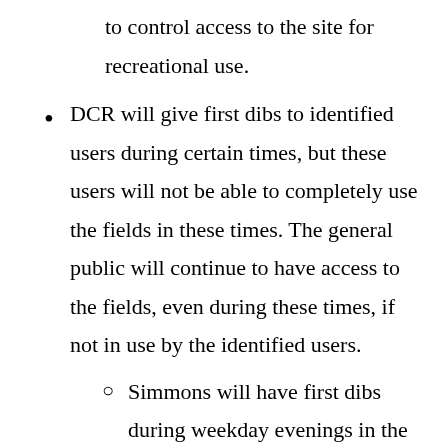to control access to the site for recreational use.
DCR will give first dibs to identified users during certain times, but these users will not be able to completely use the fields in these times. The general public will continue to have access to the fields, even during these times, if not in use by the identified users.
Simmons will have first dibs during weekday evenings in the Spring and